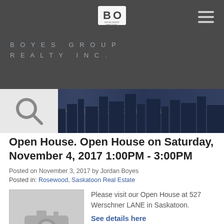[Figure (logo): Boyes Group Realty Inc. logo — white BO monogram with company name below]
BOYES GROUP REALTY INC.
[Figure (screenshot): Website banner with search icon on grey background and city skyline at night. Text reads: Search for homes now!]
Open House. Open House on Saturday, November 4, 2017 1:00PM - 3:00PM
Posted on November 3, 2017 by Jordan Boyes
Posted in: Rosewood, Saskatoon Real Estate
[Figure (photo): Grey camera icon placeholder image]
Please visit our Open House at 527 Werschner LANE in Saskatoon.
See details here
Open House on Saturday, November 4, 2017 1:00PM - 3:00PM